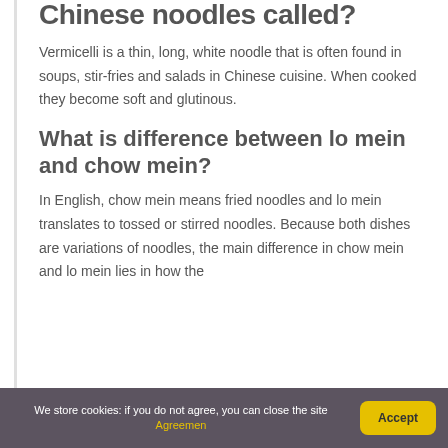Chinese noodles called?
Vermicelli is a thin, long, white noodle that is often found in soups, stir-fries and salads in Chinese cuisine. When cooked they become soft and glutinous.
What is difference between lo mein and chow mein?
In English, chow mein means fried noodles and lo mein translates to tossed or stirred noodles. Because both dishes are variations of noodles, the main difference in chow mein and lo mein lies in how the
We store cookies: if you do not agree, you can close the site Agreemen Accept